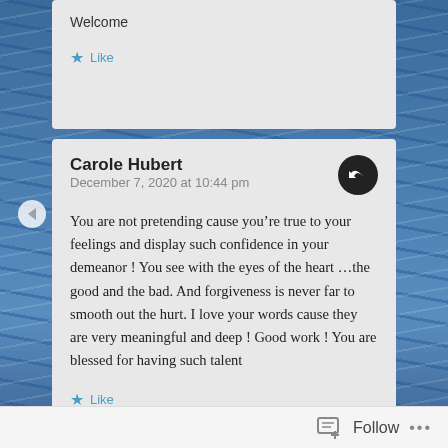Welcome
Like
Carole Hubert
December 7, 2020 at 10:44 pm
You are not pretending cause you’re true to your feelings and display such confidence in your demeanor ! You see with the eyes of the heart ...the good and the bad. And forgiveness is never far to smooth out the hurt. I love your words cause they are very meaningful and deep ! Good work ! You are blessed for having such talent
Like
Follow